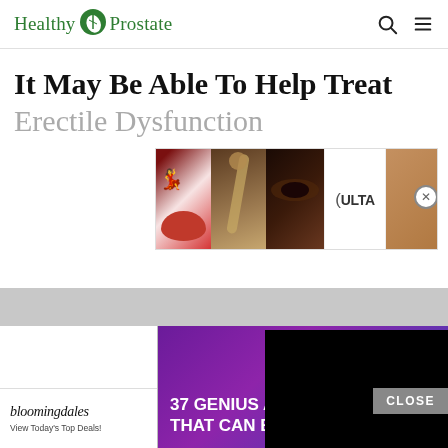Healthy Prostate
It May Be Able To Help Treat
Erectile Dysfunction
[Figure (screenshot): ULTA beauty advertisement banner with makeup/cosmetic images and SHOP NOW call to action]
[Figure (screenshot): Amazon advertisement showing purple headphones with text '37 GENIUS AMAZ THAT CAN BE US' and number badge 22, partially covered by black overlay]
[Figure (screenshot): CLOSE button overlay and Bloomingdale's advertisement banner at bottom: 'bloomingdales View Today's Top Deals! SHOP NOW >']